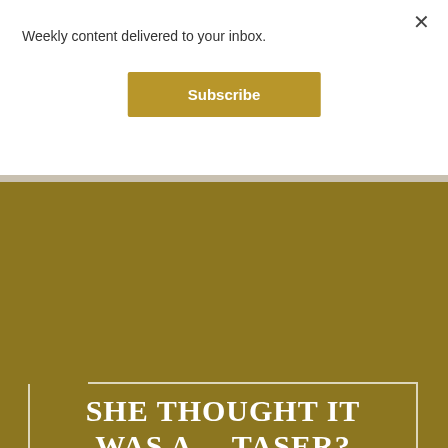Weekly content delivered to your inbox.
Subscribe
[Figure (photo): Dark background image strip at top of gold section]
SHE THOUGHT IT WAS A… TASER?
April 14, 2021 by The Narr O.W. Podcast
I didn't want to start Season 3 until May because I knew that I'd need to get ahead on some pieces